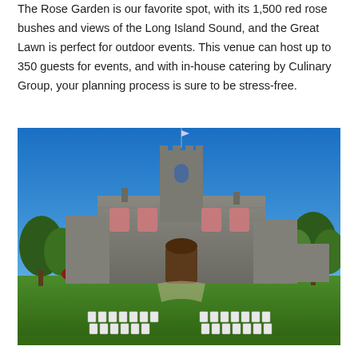The Rose Garden is our favorite spot, with its 1,500 red rose bushes and views of the Long Island Sound, and the Great Lawn is perfect for outdoor events. This venue can host up to 350 guests for events, and with in-house catering by Culinary Group, your planning process is sure to be stress-free.
[Figure (photo): Exterior photograph of a large historic stone manor house with a central tower and Gothic architectural details, set against a bright blue sky. The foreground shows a large manicured green lawn with two rows of white folding chairs arranged for an outdoor ceremony.]